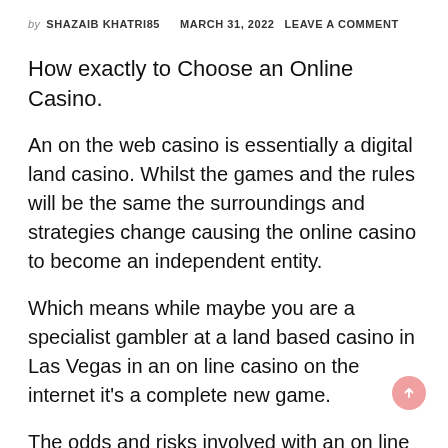by SHAZAIB KHATRI85   MARCH 31, 2022  LEAVE A COMMENT
How exactly to Choose an Online Casino.
An on the web casino is essentially a digital land casino. Whilst the games and the rules will be the same the surroundings and strategies change causing the online casino to become an independent entity.
Which means while maybe you are a specialist gambler at a land based casino in Las Vegas in an on line casino on the internet it's a complete new game.
The odds and risks involved with an on line